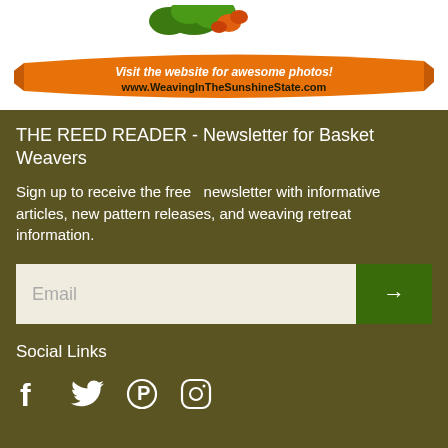[Figure (illustration): Orange ribbon banner with text 'Visit the website for awesome photos! www.WeavingInTheSunshineState.com' on white background]
THE REED READER - Newsletter for Basket Weavers
Sign up to receive the free newsletter with informative articles, new pattern releases, and weaving retreat information.
[Figure (other): Email signup form with input field placeholder 'Email' and green submit button with arrow]
Social Links
[Figure (other): Social media icons: Facebook, Twitter, Pinterest, Instagram]